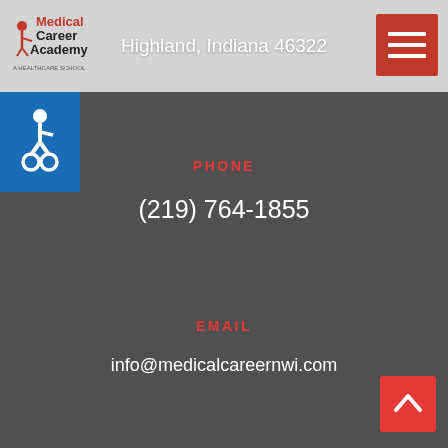Highland, Indiana 46322
[Figure (logo): Medical Career Academy logo with red text and wheelchair figure]
[Figure (other): Hamburger menu button (red square with three white lines)]
[Figure (other): Accessibility icon (white wheelchair symbol on blue background)]
PHONE
(219) 764-1855
EMAIL
info@medicalcareernwi.com
[Figure (other): Back to top button (red square with white upward chevron)]